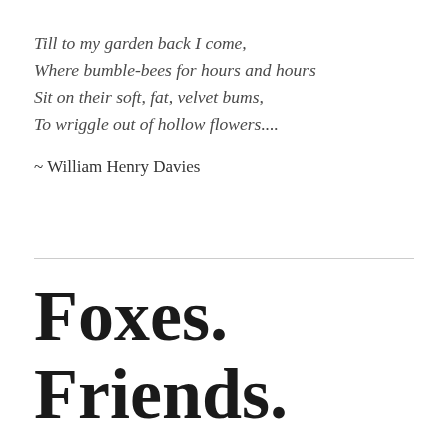Till to my garden back I come,
Where bumble-bees for hours and hours
Sit on their soft, fat, velvet bums,
To wriggle out of hollow flowers....
~ William Henry Davies
Foxes.
Friends.